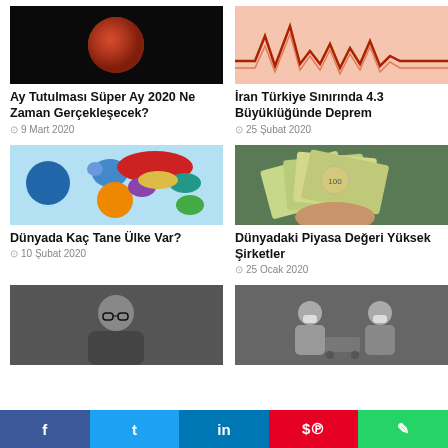[Figure (photo): Blood moon / lunar eclipse photo on dark background]
Ay Tutulması Süper Ay 2020 Ne Zaman Gerçekleşecek?
⊙ 9 Mart 2020
[Figure (photo): Seismic wave / earthquake diagram with red tones]
İran Türkiye Sınırında 4.3 Büyüklüğünde Deprem
⊙ 25 Şubat 2020
[Figure (map): Colorful world map showing countries]
Dünyada Kaç Tane Ülke Var?
⊙ 10 Şubat 2020
[Figure (photo): Hand holding US dollar bills fan]
Dünyadaki Piyasa Değeri Yüksek Şirketler
⊙ 25 Ocak 2020
[Figure (photo): Woman with glasses, dark hair, appears to be Greek president]
[Figure (photo): People in hazmat suits, COVID related scene, grayscale]
f  t  in  p  w